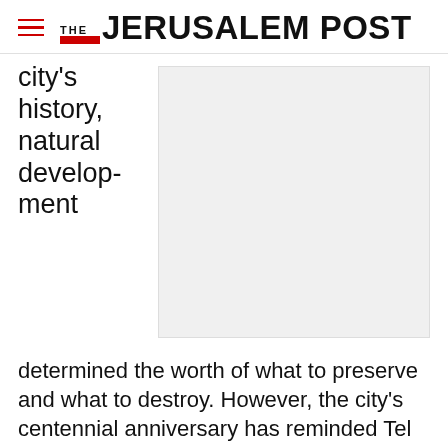THE JERUSALEM POST
city's history, natural development
[Figure (photo): Gray placeholder image box]
determined the worth of what to preserve and what to destroy. However, the city's centennial anniversary has reminded Tel Aviv of its dynamic history and inspired a movement to restore and explore it. As such, the municipality has
Advertisement